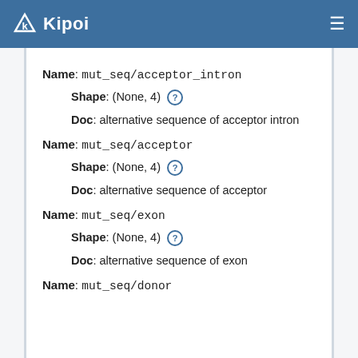Kipoi
Name: mut_seq/acceptor_intron
  Shape: (None, 4)
  Doc: alternative sequence of acceptor intron
Name: mut_seq/acceptor
  Shape: (None, 4)
  Doc: alternative sequence of acceptor
Name: mut_seq/exon
  Shape: (None, 4)
  Doc: alternative sequence of exon
Name: mut_seq/donor